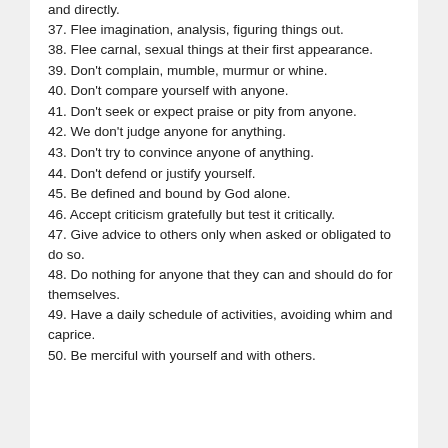and directly.
37. Flee imagination, analysis, figuring things out.
38. Flee carnal, sexual things at their first appearance.
39. Don't complain, mumble, murmur or whine.
40. Don't compare yourself with anyone.
41. Don't seek or expect praise or pity from anyone.
42. We don't judge anyone for anything.
43. Don't try to convince anyone of anything.
44. Don't defend or justify yourself.
45. Be defined and bound by God alone.
46. Accept criticism gratefully but test it critically.
47. Give advice to others only when asked or obligated to do so.
48. Do nothing for anyone that they can and should do for themselves.
49. Have a daily schedule of activities, avoiding whim and caprice.
50. Be merciful with yourself and with others.